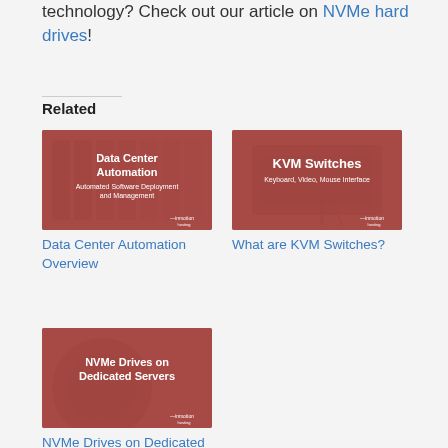technology? Check out our article on NVMe hard drives!
Related
[Figure (illustration): Data Center Automation - Automated Software Deployment and Management thumbnail image with red overlay]
Data Center Automation Overview
[Figure (illustration): KVM Switches - Keyboard, Video, Mouse Interface thumbnail image with red overlay]
What are KVM Switches?
[Figure (illustration): NVMe Drives on Dedicated Servers thumbnail image with red overlay]
NVMe Drives on Dedicated Servers